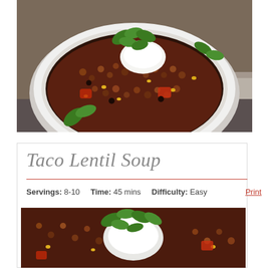[Figure (photo): A white bowl filled with taco lentil soup containing lentils, corn, black beans, tomatoes, topped with sour cream and fresh cilantro, photographed from above on a granite countertop]
Taco Lentil Soup
Servings: 8-10    Time: 45 mins    Difficulty: Easy    Print
[Figure (photo): Close-up photo of taco lentil soup with sour cream and cilantro garnish]